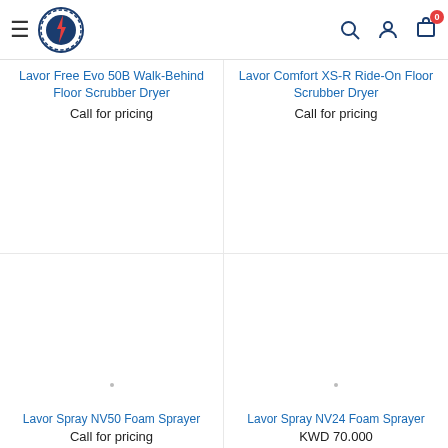Navigation header with hamburger menu, Lavor logo, search icon, user icon, cart icon with badge 0
Lavor Free Evo 50B Walk-Behind Floor Scrubber Dryer
Call for pricing
Lavor Comfort XS-R Ride-On Floor Scrubber Dryer
Call for pricing
[Figure (photo): Product image area for Lavor Spray NV50 Foam Sprayer (blank/loading)]
[Figure (photo): Product image area for Lavor Spray NV24 Foam Sprayer (blank/loading)]
Lavor Spray NV50 Foam Sprayer
Call for pricing
Lavor Spray NV24 Foam Sprayer
KWD 70.000